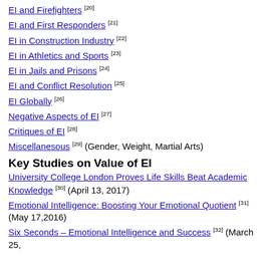EI and Firefighters [20]
EI and First Responders [21]
EI in Construction Industry [22]
EI in Athletics and Sports [23]
EI in Jails and Prisons [24]
EI and Conflict Resolution [25]
EI Globally [26]
Negative Aspects of EI [27]
Critiques of EI [28]
Miscellanesous [29] (Gender, Weight, Martial Arts)
Key Studies on Value of EI
University College London Proves Life Skills Beat Academic Knowledge [30] (April 13, 2017)
Emotional Intelligence: Boosting Your Emotional Quotient [31] (May 17,2016)
Six Seconds – Emotional Intelligence and Success [32] (March 25,